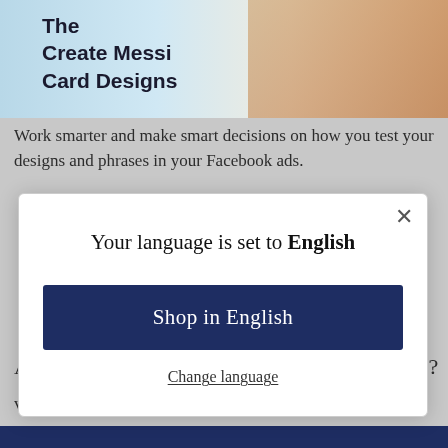[Figure (screenshot): Top portion of a webpage showing decorative image with text 'Create Messing Card Designs' and hands giving thumbs up gesture]
Work smarter and make smart decisions on how you test your designs and phrases in your Facebook ads.
Your language is set to English
Shop in English
Change language
AD TARGETING THAT MUCH?
von Zafi Digital    18. Mai. 2020